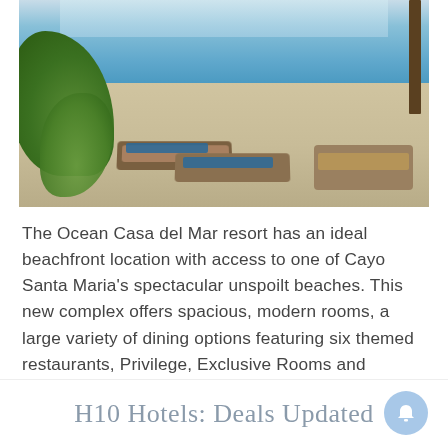[Figure (photo): Outdoor resort pool area with rattan lounge chairs and blue cushions on a stone deck, tropical greenery on the left, blue pool water in the background]
The Ocean Casa del Mar resort has an ideal beachfront location with access to one of Cayo Santa Maria's spectacular unspoilt beaches. This new complex offers spacious, modern rooms, a large variety of dining options featuring six themed restaurants, Privilege, Exclusive Rooms and Services and a full programme of entertainment for the whole family.
H10 Hotels: Deals Updated